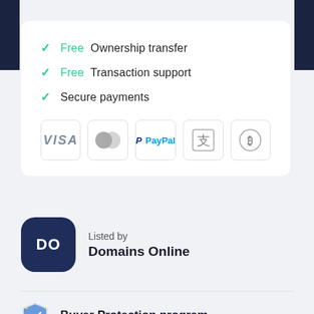✓ Free Ownership transfer
✓ Free Transaction support
✓ Secure payments
[Figure (infographic): Payment method icons: VISA, Mastercard, PayPal, Alipay, Bitcoin]
Listed by
Domains Online
Buyer Protection program